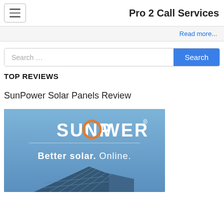Pro 2 Call Services
Read more...
Search …
TOP REVIEWS
SunPower Solar Panels Review
[Figure (logo): SunPower logo with text 'SUNPOWER® Better solar. Online.' on a blue background with a solar panel image at the bottom]